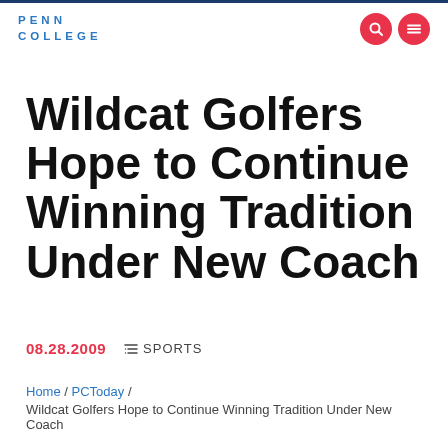PENN COLLEGE
Wildcat Golfers Hope to Continue Winning Tradition Under New Coach
08.28.2009  ≡ SPORTS
Home / PCToday / Wildcat Golfers Hope to Continue Winning Tradition Under New Coach